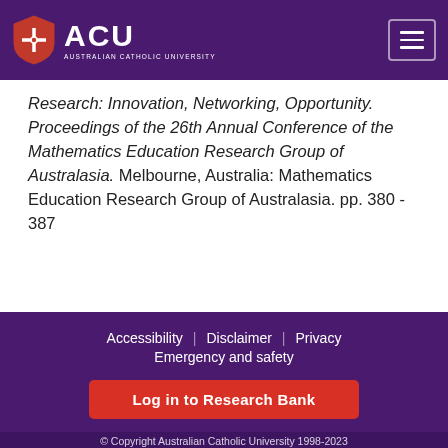ACU - Australian Catholic University
Research: Innovation, Networking, Opportunity. Proceedings of the 26th Annual Conference of the Mathematics Education Research Group of Australasia. Melbourne, Australia: Mathematics Education Research Group of Australasia. pp. 380 - 387
Accessibility | Disclaimer | Privacy | Emergency and safety | Log in to Research Bank | © Copyright Australian Catholic University 1998-2023